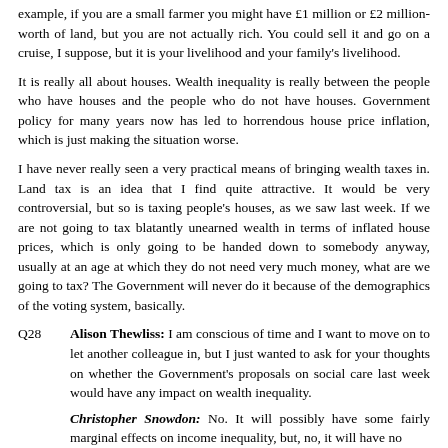example, if you are a small farmer you might have £1 million or £2 million-worth of land, but you are not actually rich. You could sell it and go on a cruise, I suppose, but it is your livelihood and your family's livelihood.
It is really all about houses. Wealth inequality is really between the people who have houses and the people who do not have houses. Government policy for many years now has led to horrendous house price inflation, which is just making the situation worse.
I have never really seen a very practical means of bringing wealth taxes in. Land tax is an idea that I find quite attractive. It would be very controversial, but so is taxing people's houses, as we saw last week. If we are not going to tax blatantly unearned wealth in terms of inflated house prices, which is only going to be handed down to somebody anyway, usually at an age at which they do not need very much money, what are we going to tax? The Government will never do it because of the demographics of the voting system, basically.
Q28   Alison Thewliss: I am conscious of time and I want to move on to let another colleague in, but I just wanted to ask for your thoughts on whether the Government's proposals on social care last week would have any impact on wealth inequality.
Christopher Snowdon: No. It will possibly have some fairly marginal effects on income inequality, but, no, it will have no